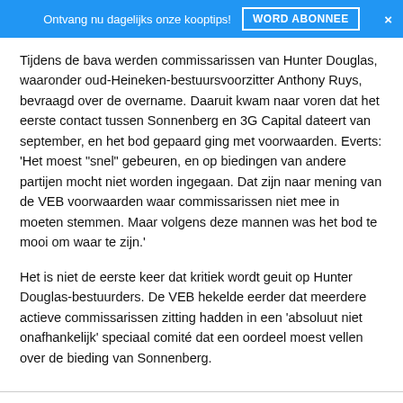Ontvang nu dagelijks onze kooptips!  WORD ABONNEE  ×
Tijdens de bava werden commissarissen van Hunter Douglas, waaronder oud-Heineken-bestuursvoorzitter Anthony Ruys, bevraagd over de overname. Daaruit kwam naar voren dat het eerste contact tussen Sonnenberg en 3G Capital dateert van september, en het bod gepaard ging met voorwaarden. Everts: 'Het moest "snel" gebeuren, en op biedingen van andere partijen mocht niet worden ingegaan. Dat zijn naar mening van de VEB voorwaarden waar commissarissen niet mee in moeten stemmen. Maar volgens deze mannen was het bod te mooi om waar te zijn.'
Het is niet de eerste keer dat kritiek wordt geuit op Hunter Douglas-bestuurders. De VEB hekelde eerder dat meerdere actieve commissarissen zitting hadden in een 'absoluut niet onafhankelijk' speciaal comité dat een oordeel moest vellen over de bieding van Sonnenberg.
Home  Markt vandaag  Koersen  Forum